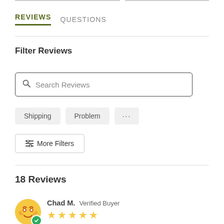REVIEWS    QUESTIONS
Filter Reviews
Search Reviews
Shipping   Problem   ...
More Filters
18 Reviews
Chad M.  Verified Buyer  ★★★★★